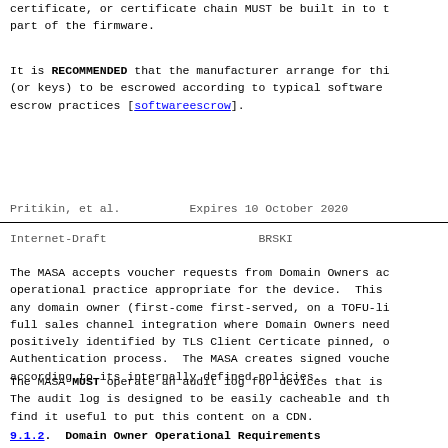certificate, or certificate chain MUST be built in to the part of the firmware.
It is RECOMMENDED that the manufacturer arrange for this (or keys) to be escrowed according to typical software escrow practices [softwareescrow].
Pritikin, et al.          Expires 10 October 2020
Internet-Draft                        BRSKI
The MASA accepts voucher requests from Domain Owners ac operational practice appropriate for the device.  This any domain owner (first-come first-served, on a TOFU-li full sales channel integration where Domain Owners need positively identified by TLS Client Certicate pinned, o Authentication process.  The MASA creates signed vouche according to its internally defined policies.
The MASA MUST operate an audit log for devices that is The audit log is designed to be easily cacheable and th find it useful to put this content on a CDN.
9.1.2. Domain Owner Operational Requirements